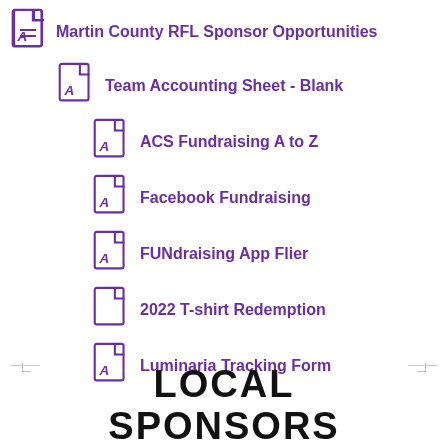Martin County RFL Sponsor Opportunities
Team Accounting Sheet - Blank
ACS Fundraising A to Z
Facebook Fundraising
FUNdraising App Flier
2022 T-shirt Redemption
Luminaria Tracking Form
LOCAL SPONSORS